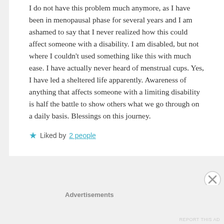I do not have this problem much anymore, as I have been in menopausal phase for several years and I am ashamed to say that I never realized how this could affect someone with a disability. I am disabled, but not where I couldn't used something like this with much ease. I have actually never heard of menstrual cups. Yes, I have led a sheltered life apparently. Awareness of anything that affects someone with a limiting disability is half the battle to show others what we go through on a daily basis. Blessings on this journey.
Liked by 2 people
Advertisements